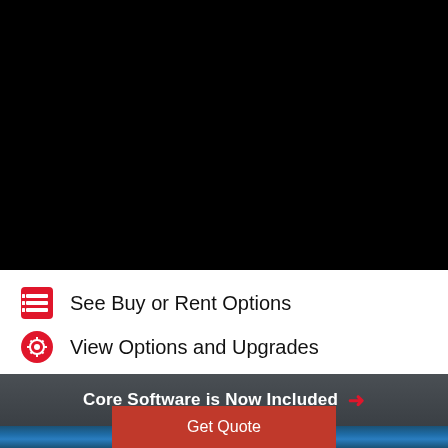Choose a country or area to see content specific to your location
✓ United States
Continue
See Buy or Rent Options
View Options and Upgrades
Visit Technical Support
Core Software is Now Included →
Specifications
Get Quote